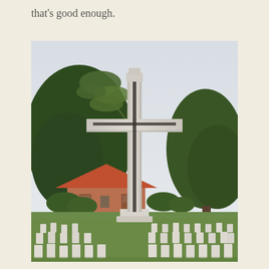that's good enough.
[Figure (photo): A tall white stone Cross of Sacrifice with a bronze sword, standing in a Commonwealth War Graves cemetery with rows of white headstones on green grass, trees in the background, and a red-roofed building behind.]